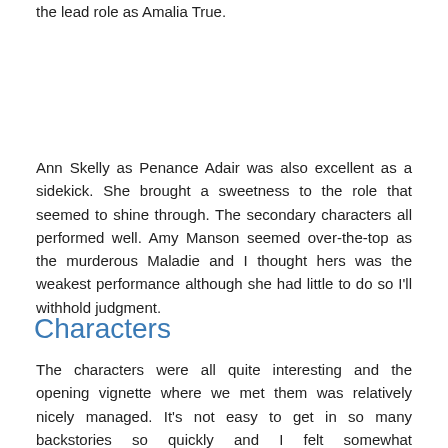the lead role as Amalia True.
Ann Skelly as Penance Adair was also excellent as a sidekick. She brought a sweetness to the role that seemed to shine through. The secondary characters all performed well. Amy Manson seemed over-the-top as the murderous Maladie and I thought hers was the weakest performance although she had little to do so I'll withhold judgment.
I have only one quibble with the acting and it's probably more with the sound team and the writing than the actors. I struggled throughout to understand the dialog. Their accents along with a lot of mumbling made it really difficult to follow.
Characters
The characters were all quite interesting and the opening vignette where we met them was relatively nicely managed. It's not easy to get in so many backstories so quickly and I felt somewhat shortchanged, particularly in regards to Amalia who attempts to commit suicide but why?